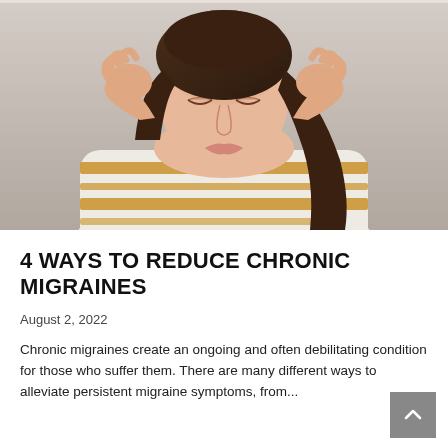[Figure (photo): A woman holding her head in both hands with eyes closed, appearing to be in pain from a headache or migraine, wearing a white and gold striped knit sweater.]
4 WAYS TO REDUCE CHRONIC MIGRAINES
August 2, 2022
Chronic migraines create an ongoing and often debilitating condition for those who suffer them. There are many different ways to alleviate persistent migraine symptoms, from...